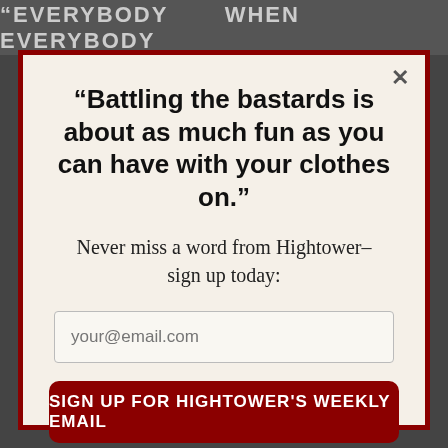[Figure (screenshot): Top banner with text 'EVERYBODY WHEN EVERYBODY' in bold uppercase letters on a dark background]
“Battling the bastards is about as much fun as you can have with your clothes on.”
Never miss a word from Hightower–sign up today:
your@email.com
SIGN UP FOR HIGHTOWER'S WEEKLY EMAIL